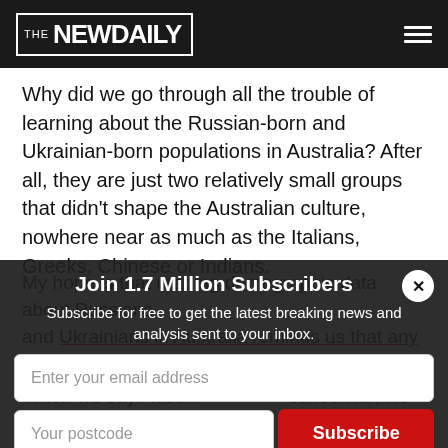THE NEWDAILY
Why did we go through all the trouble of learning about the Russian-born and Ukrainian-born populations in Australia? After all, they are just two relatively small groups that didn't shape the Australian culture, nowhere near as much as the Italians, Greeks, Chinese or Indians.
My hope is that reading demographic data about Russians and Ukrainians in Australia reminds us that any war is always bet...
Join 1.7 Million Subscribers
Subscribe for free to get the latest breaking news and analysis sent to your inbox.
Enter your email address
Your postcode
Subscribe
When we say Russ... stined war, we really mean the Kr... g in such a war.